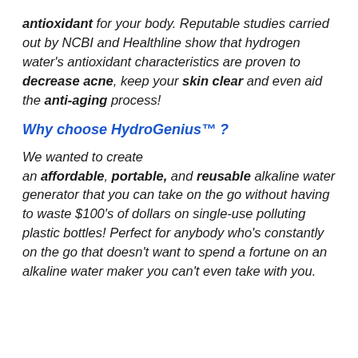antioxidant for your body. Reputable studies carried out by NCBI and Healthline show that hydrogen water's antioxidant characteristics are proven to decrease acne, keep your skin clear and even aid the anti-aging process!
Why choose HydroGenius™ ?
We wanted to create an affordable, portable, and reusable alkaline water generator that you can take on the go without having to waste $100's of dollars on single-use polluting plastic bottles! Perfect for anybody who's constantly on the go that doesn't want to spend a fortune on an alkaline water maker you can't even take with you.